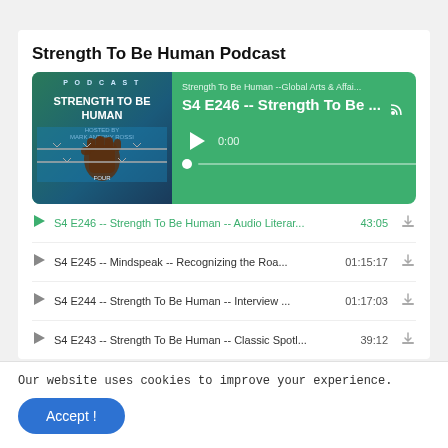Strength To Be Human Podcast
[Figure (screenshot): PodBean podcast player widget for 'Strength To Be Human --Global Arts & Affai...' showing episode S4 E246 -- Strength To Be ... with green background, podcast cover art, play button, progress bar at 0:00 / -0:00]
S4 E246 -- Strength To Be Human -- Audio Literar... 43:05
S4 E245 -- Mindspeak -- Recognizing the Roa... 01:15:17
S4 E244 -- Strength To Be Human -- Interview ... 01:17:03
S4 E243 -- Strength To Be Human -- Classic Spotl... 39:12
Our website uses cookies to improve your experience.
Accept !